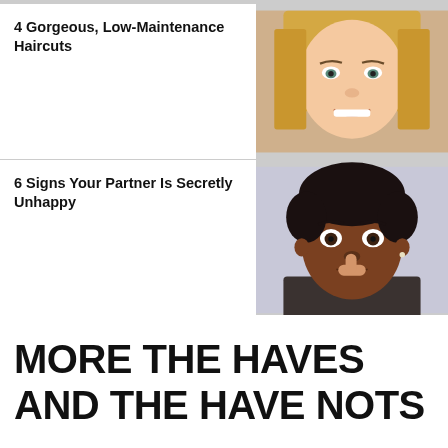4 Gorgeous, Low-Maintenance Haircuts
[Figure (photo): Smiling blonde woman with straight hair, close-up portrait]
6 Signs Your Partner Is Secretly Unhappy
[Figure (photo): Young Black man with finger held to lips in a secretive gesture, close-up portrait]
MORE THE HAVES AND THE HAVE NOTS